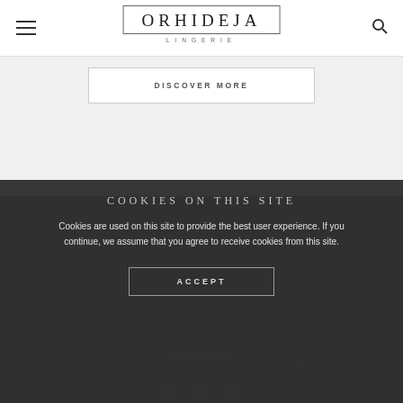ORHIDEJA LINGERIE
DISCOVER MORE
COOKIES ON THIS SITE
Cookies are used on this site to provide the best user experience. If you continue, we assume that you agree to receive cookies from this site.
ACCEPT
FOLLOW US
ORHIDEJA LINGERIE